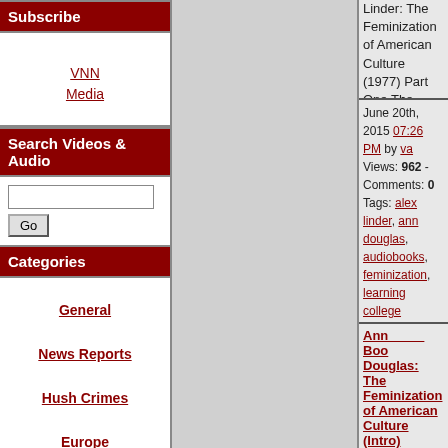Subscribe
VNN Media
Search Videos & Audio
Categories
General
News Reports
Hush Crimes
Europe
Linder: The Feminization of American Culture (1977) Part One The Sentimentalization of Status Ch. 1: Clerical Disestablishment [the chapters in this book are quite long so we'll break them up into multiple segments. this is Ch1a.]
June 20th, 2015 07:26 PM by var Views: 962 - Comments: 0 Tags: alex linder, ann douglas, audiobooks, feminization, learning college
Ann Book Douglas: The Feminization of American Culture (Intro)